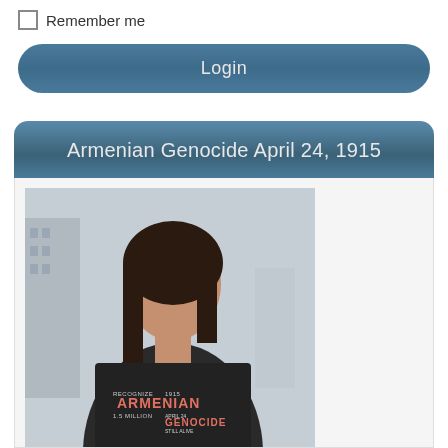Remember me
Login
Armenian Genocide April 24, 1915
[Figure (photo): A woman wearing a dark t-shirt with Armenian Genocide text and graphics, standing outdoors in front of buildings]